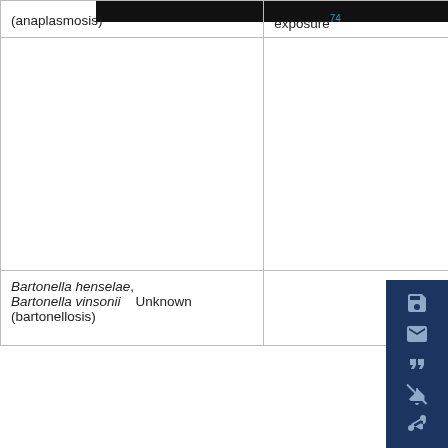| (anaplasmosis) | exposure²74 |
| Bartonella henselae,
Bartonella vinsonii (bartonellosis) | Unknown | M
p
se
(e |